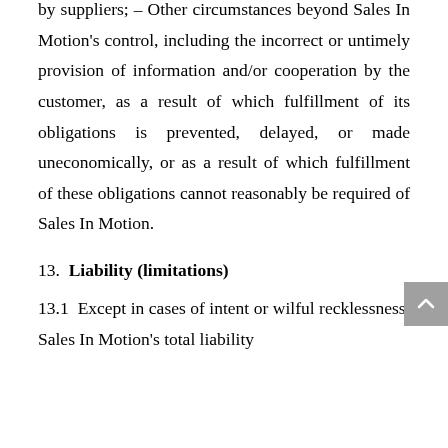by suppliers; – Other circumstances beyond Sales In Motion's control, including the incorrect or untimely provision of information and/or cooperation by the customer, as a result of which fulfillment of its obligations is prevented, delayed, or made uneconomically, or as a result of which fulfillment of these obligations cannot reasonably be required of Sales In Motion.
13.  Liability (limitations)
13.1  Except in cases of intent or wilful recklessness, Sales In Motion's total liability